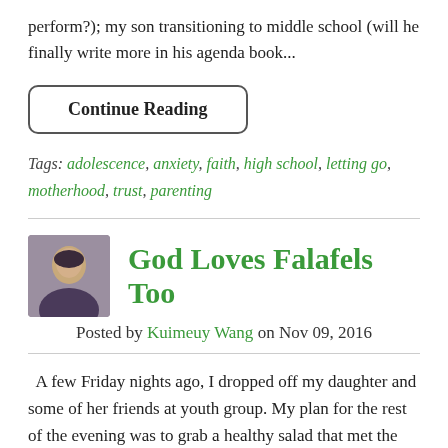perform?); my son transitioning to middle school (will he finally write more in his agenda book...
Continue Reading
Tags: adolescence, anxiety, faith, high school, letting go, motherhood, trust, parenting
God Loves Falafels Too
Posted by Kuimeuy Wang on Nov 09, 2016
A few Friday nights ago, I dropped off my daughter and some of her friends at youth group. My plan for the rest of the evening was to grab a healthy salad that met the requirements of my six-week fat loss challenge at the gym, then head to a